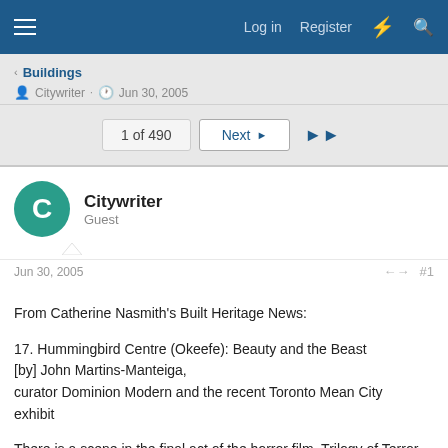Log in  Register
Buildings
Citywriter · Jun 30, 2005
1 of 490   Next   ▶▶
Citywriter
Guest
Jun 30, 2005   #1
From Catherine Nasmith's Built Heritage News:

17. Hummingbird Centre (Okeefe): Beauty and the Beast [by] John Martins-Manteiga,
curator Dominion Modern and the recent Toronto Mean City exhibit

There is a scene in the final act of the horror film, Trilogy of Terror